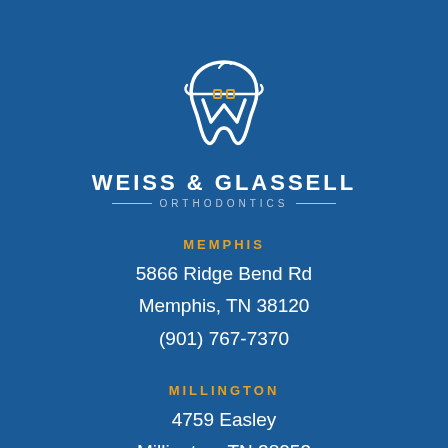[Figure (logo): Weiss & Glassell Orthodontics logo: white tooth/W shape with orthodontic wire graphic]
WEISS & GLASSELL ORTHODONTICS
MEMPHIS
5866 Ridge Bend Rd
Memphis, TN 38120
(901) 767-7370
MILLINGTON
4759 Easley
Millington, TN 38053